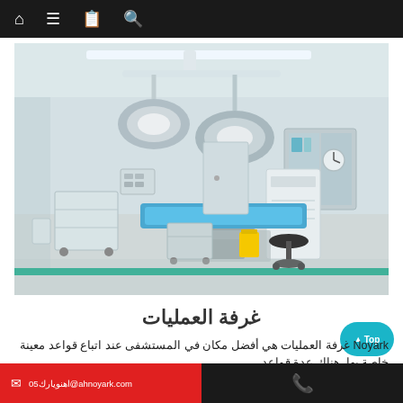Navigation bar with home, menu, book, and search icons
[Figure (photo): A clean, modern surgical/operating room with a blue padded operating table in the center, large overhead surgical lights, stainless steel medical carts, a yellow biohazard bin, a white medical cabinet, and teal-colored floor trim. The room has white walls and a light gray epoxy floor.]
غرفة العمليات
Noyark غرفة العمليات هي أفضل مكان في المستشفى عند اتباع قواعد معينة خاصة بها. هناك عدة قواعد،
✉ اهنويارك05@ahnoyark.com   📞